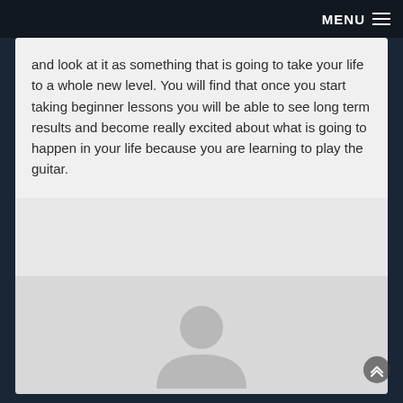MENU ☰
and look at it as something that is going to take your life to a whole new level. You will find that once you start taking beginner lessons you will be able to see long term results and become really excited about what is going to happen in your life because you are learning to play the guitar.
[Figure (illustration): Default user avatar/profile icon: a grey silhouette of a person (head circle and shoulders arc) on a light grey background.]
bloger